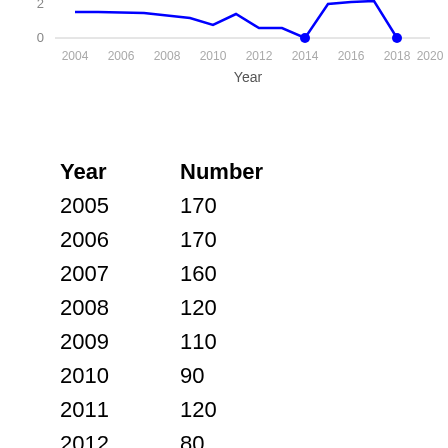[Figure (line-chart): ]
| Year | Number |
| --- | --- |
| 2005 | 170 |
| 2006 | 170 |
| 2007 | 160 |
| 2008 | 120 |
| 2009 | 110 |
| 2010 | 90 |
| 2011 | 120 |
| 2012 | 80 |
| 2013 | 80 |
| 2014 | 0 |
| 2015 | 210 |
| 2016 | 270 |
| 2017 | 300 |
| 2018 | 300 |